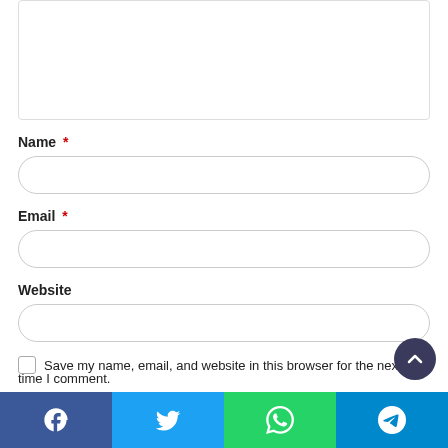[Figure (screenshot): Top portion of a comment form showing a textarea (comment input box, mostly visible, partially cropped at top)]
Name *
[Figure (screenshot): Name input field — rounded rectangle text input]
Email *
[Figure (screenshot): Email input field — rounded rectangle text input]
Website
[Figure (screenshot): Website input field — rounded rectangle text input]
Save my name, email, and website in this browser for the next time I comment.
[Figure (screenshot): Social sharing bar with Facebook, Twitter, WhatsApp, and Telegram buttons at the bottom of the page]